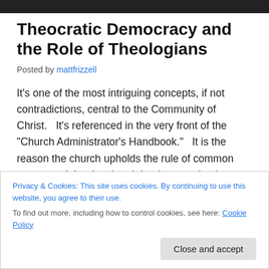Theocratic Democracy and the Role of Theologians
Posted by mattfrizzell
It’s one of the most intriguing concepts, if not contradictions, central to the Community of Christ.   It’s referenced in the very front of the “Church Administrator’s Handbook.”   It is the reason the church upholds the rule of common consent.   It is why church leaders emphasize
Privacy & Cookies: This site uses cookies. By continuing to use this website, you agree to their use. To find out more, including how to control cookies, see here: Cookie Policy
Close and accept